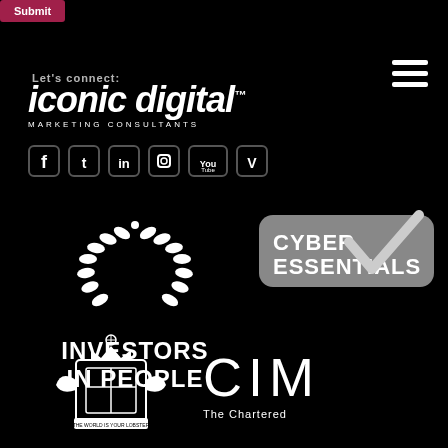[Figure (screenshot): A dark-themed website footer/page screenshot showing the Iconic Digital Marketing Consultants brand, social media icons, certification logos (Investors in People, Cyber Essentials, City of London crest, CIM), and a hamburger menu icon.]
Submit
Let's connect:
[Figure (logo): Iconic Digital Marketing Consultants logo in white italic text on black background]
[Figure (logo): Social media icons row: Facebook, Twitter, LinkedIn, Instagram, YouTube, Vimeo]
[Figure (logo): Investors in People logo with laurel wreath and white text]
[Figure (logo): Cyber Essentials certification badge with grey background and checkmark]
[Figure (logo): City of London / Royal crest heraldic emblem in white on black]
CIM
The Chartered